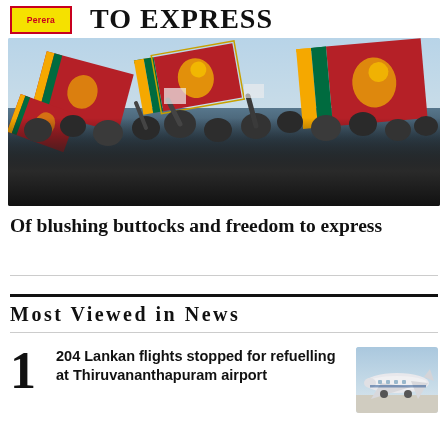[Figure (photo): Newspaper or website header with 'TO EXPRESS' text and logo badge reading 'Perera', above a protest photo showing crowds of people waving Sri Lankan flags (red with golden lion, and green/orange striped) against a sky background]
Of blushing buttocks and freedom to express
Most Viewed in News
1 204 Lankan flights stopped for refuelling at Thiruvananthapuram airport